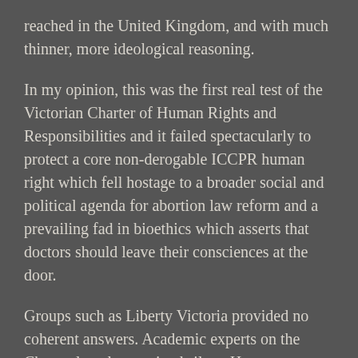reached in the United Kingdom, and with much thinner, more ideological reasoning.
In my opinion, this was the first real test of the Victorian Charter of Human Rights and Responsibilities and it failed spectacularly to protect a core non-derogable ICCPR human right which fell hostage to a broader social and political agenda for abortion law reform and a prevailing fad in bioethics which asserts that doctors should leave their consciences at the door.
Groups such as Liberty Victoria provided no coherent answers. Academic experts on the Charter largely remained silent. However Professor George Williams, the principal draftsman of the Victorian Charter, has since circulated his opinion on human rights issues...